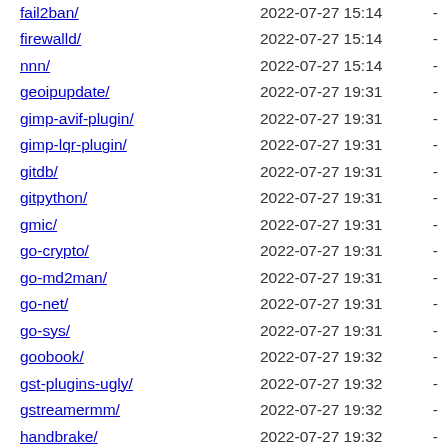fail2ban/  2022-07-27 15:14  -
firewalld/  2022-07-27 15:14  -
nnn/  2022-07-27 15:14  -
geoipupdate/  2022-07-27 19:31  -
gimp-avif-plugin/  2022-07-27 19:31  -
gimp-lqr-plugin/  2022-07-27 19:31  -
gitdb/  2022-07-27 19:31  -
gitpython/  2022-07-27 19:31  -
gmic/  2022-07-27 19:31  -
go-crypto/  2022-07-27 19:31  -
go-md2man/  2022-07-27 19:31  -
go-net/  2022-07-27 19:31  -
go-sys/  2022-07-27 19:31  -
goobook/  2022-07-27 19:32  -
gst-plugins-ugly/  2022-07-27 19:32  -
gstreamermm/  2022-07-27 19:32  -
handbrake/  2022-07-27 19:32  -
hashcat-utils/  2022-07-27 19:32  -
httpie/  2022-07-27 19:32  -
httraqt/  2022-07-27 19:32  -
hydra/  2022-07-27 19:32  -